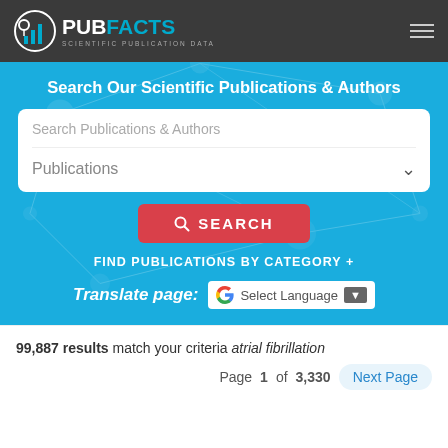[Figure (logo): PubFacts logo with bar chart icon and text 'PUBFACTS SCIENTIFIC PUBLICATION DATA' on dark grey navbar]
Search Our Scientific Publications & Authors
Search Publications & Authors
Publications
SEARCH
FIND PUBLICATIONS BY CATEGORY +
Translate page: Select Language
99,887 results match your criteria atrial fibrillation
Page 1 of 3,330  Next Page